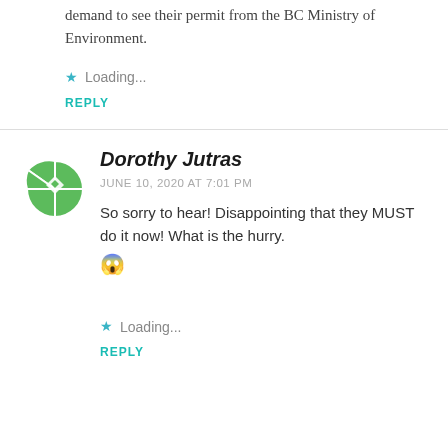demand to see their permit from the BC Ministry of Environment.
Loading...
REPLY
[Figure (illustration): Green circular avatar icon with decorative diamond/arrow pattern]
Dorothy Jutras
JUNE 10, 2020 AT 7:01 PM
So sorry to hear! Disappointing that they MUST do it now! What is the hurry. 😱
Loading...
REPLY